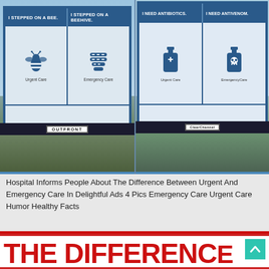[Figure (photo): Two billboard advertisements showing the difference between Urgent Care and Emergency Care. Left billboard: 'I STEPPED ON A BEE' (Urgent Care) and 'I STEPPED ON A BEEHIVE' (Emergency Care). Right billboard: 'I NEED ANTIBIOTICS' (Urgent Care) and 'I NEED ANTIVENOM' (Emergency Care). Outfront and Clear Channel billboard companies.]
Hospital Informs People About The Difference Between Urgent And Emergency Care In Delightful Ads 4 Pics Emergency Care Urgent Care Humor Healthy Facts
THE DIFFERENC